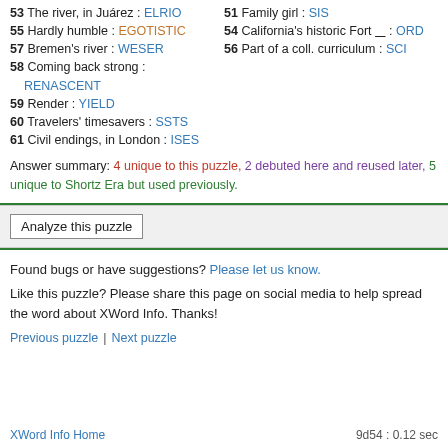53 The river, in Juárez : ELRIO
55 Hardly humble : EGOTISTIC
57 Bremen's river : WESER
58 Coming back strong : RENASCENT
59 Render : YIELD
60 Travelers' timesavers : SSTS
61 Civil endings, in London : ISES
51 Family girl : SIS
54 California's historic Fort ___ : ORD
56 Part of a coll. curriculum : SCI
Answer summary: 4 unique to this puzzle, 2 debuted here and reused later, 5 unique to Shortz Era but used previously.
Analyze this puzzle
Found bugs or have suggestions? Please let us know.
Like this puzzle? Please share this page on social media to help spread the word about XWord Info. Thanks!
Previous puzzle | Next puzzle
XWord Info Home    9d54 : 0.12 sec